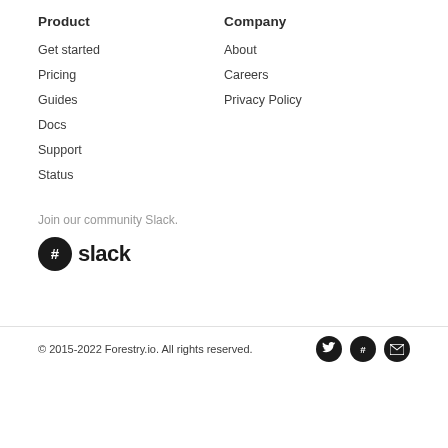Product
Get started
Pricing
Guides
Docs
Support
Status
Company
About
Careers
Privacy Policy
Join our community Slack.
[Figure (logo): Slack logo with hashtag icon and wordmark]
© 2015-2022 Forestry.io. All rights reserved.